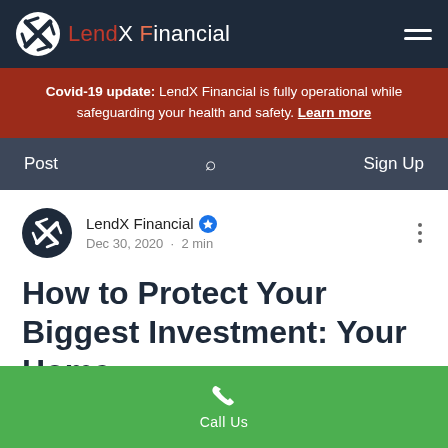LendX Financial
Covid-19 update: LendX Financial is fully operational while safeguarding your health and safety. Learn more
Post  Sign Up
LendX Financial  Dec 30, 2020 · 2 min
How to Protect Your Biggest Investment: Your Home
Call Us